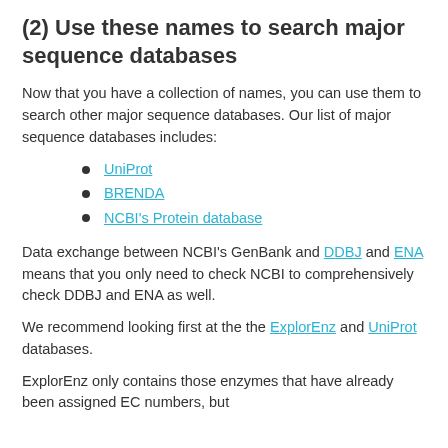(2) Use these names to search major sequence databases
Now that you have a collection of names, you can use them to search other major sequence databases. Our list of major sequence databases includes:
UniProt
BRENDA
NCBI's Protein database
Data exchange between NCBI's GenBank and DDBJ and ENA means that you only need to check NCBI to comprehensively check DDBJ and ENA as well.
We recommend looking first at the the ExplorEnz and UniProt databases.
ExplorEnz only contains those enzymes that have already been assigned EC numbers, but